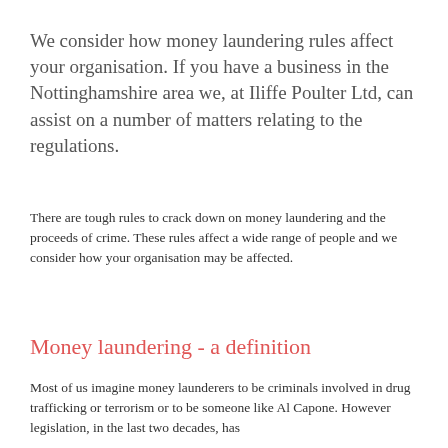We consider how money laundering rules affect your organisation. If you have a business in the Nottinghamshire area we, at Iliffe Poulter Ltd, can assist on a number of matters relating to the regulations.
There are tough rules to crack down on money laundering and the proceeds of crime. These rules affect a wide range of people and we consider how your organisation may be affected.
Money laundering - a definition
Most of us imagine money launderers to be criminals involved in drug trafficking or terrorism or to be someone like Al Capone. However legislation, in the last two decades, has